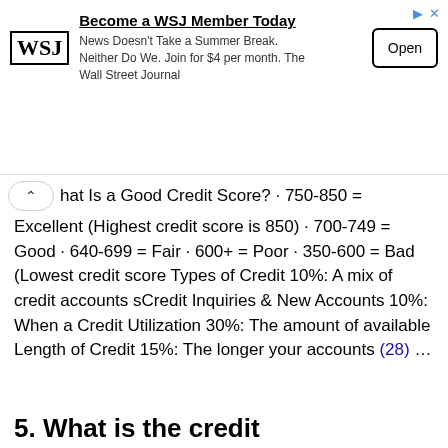[Figure (other): WSJ advertisement banner: 'Become a WSJ Member Today. News Doesn't Take a Summer Break. Neither Do We. Join for $4 per month. The Wall Street Journal' with Open button.]
What Is a Good Credit Score? · 750-850 = Excellent (Highest credit score is 850) · 700-749 = Good · 640-699 = Fair · 600+ = Poor · 350-600 = Bad (Lowest credit score Types of Credit 10%: A mix of credit accounts sCredit Inquiries & New Accounts 10%: When a Credit Utilization 30%: The amount of available Length of Credit 15%: The longer your accounts (28)…
What Is a Good Credit Score? · 750-850 = Excellent (Highest credit score is 850) · 700-749 = Good · 640-699 = Fair · 600+ = Poor · 350-600 = Bad (Lowest credit score Types of Credit 10%: A mix of credit accounts sCredit Inquiries & New Accounts 10%: When a Credit Utilization 30%: The amount of available Length of Credit 15%: The longer your accounts (28)…
5. What is the credit